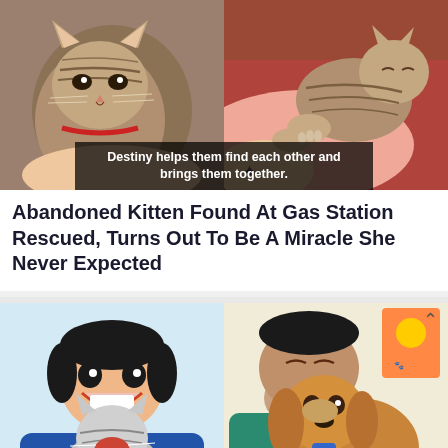[Figure (photo): Two side-by-side photos of a tabby kitten being held. Left: close-up of kitten with red collar held by person. Right: kitten lying on colorful blanket near person's arm with tattoo. Overlay caption reads: 'Destiny helps them find each other and brings them together.']
Abandoned Kitten Found At Gas Station Rescued, Turns Out To Be A Miracle She Never Expected
[Figure (photo): Two side-by-side photos. Left: smiling man in blue scrubs holding a laughing/yawning gray tabby cat. Right: man in teal scrubs kissing a golden/brown dog on the head in a vet clinic setting. Upward chevron arrow visible top right.]
20 Photos Taken By Vets That Prove Pets Are The